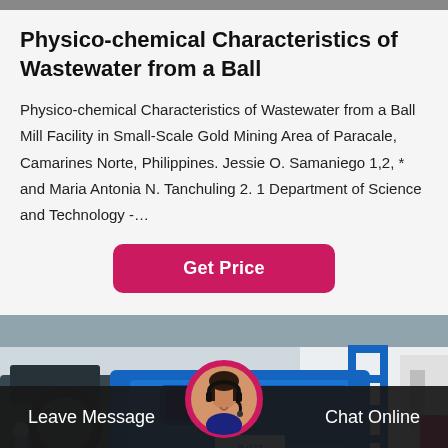Physico-chemical Characteristics of Wastewater from a Ball
Physico-chemical Characteristics of Wastewater from a Ball Mill Facility in Small-Scale Gold Mining Area of Paracale, Camarines Norte, Philippines. Jessie O. Samaniego 1,2, * and Maria Antonia N. Tanchuling 2. 1 Department of Science and Technology -…
[Figure (other): Pink/red 'Get Price' button]
[Figure (photo): Industrial blue ball mill machine in a factory setting]
Leave Message   Chat Online